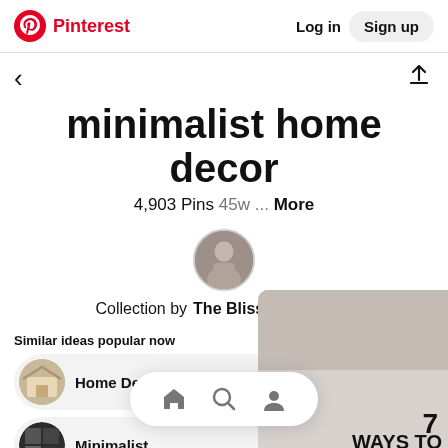Pinterest   Log in   Sign up
minimalist home decor
4,903 Pins 45w ... More
Collection by The Blissful Mind
Similar ideas popular now
Home Decor
Minimalist
[Figure (screenshot): Bottom navigation bar with home, search, and profile icons]
[Figure (photo): Right side partially visible image with text '7 WAYS TO']